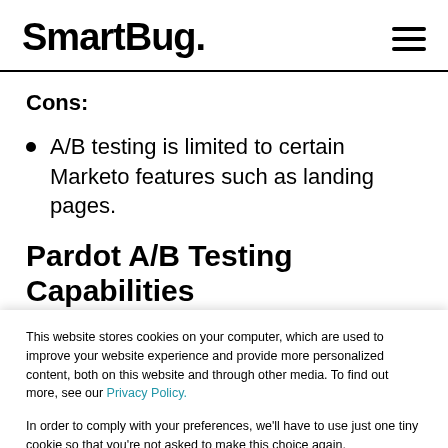SmartBug.
Cons:
A/B testing is limited to certain Marketo features such as landing pages.
Pardot A/B Testing Capabilities
This website stores cookies on your computer, which are used to improve your website experience and provide more personalized content, both on this website and through other media. To find out more, see our Privacy Policy.

In order to comply with your preferences, we'll have to use just one tiny cookie so that you're not asked to make this choice again.